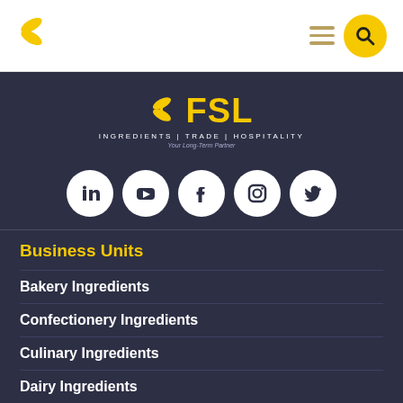[Figure (logo): FSL wheat/leaf logo in yellow at top-left of navigation bar]
[Figure (logo): Hamburger menu icon and yellow search circle button at top-right of navigation bar]
[Figure (logo): FSL company logo with wheat icon, company name FSL, tagline INGREDIENTS | TRADE | HOSPITALITY and Your Long-Term Partner on dark background]
[Figure (infographic): Social media icons row: LinkedIn, YouTube, Facebook, Instagram, Twitter — all white circles on dark background]
Business Units
Bakery Ingredients
Confectionery Ingredients
Culinary Ingredients
Dairy Ingredients
Juice & Beverage Ingredients
Meat Ingredients